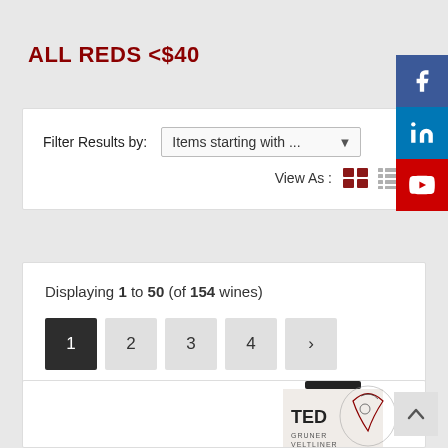ALL REDS <$40
Filter Results by: Items starting with ...
View As :
Displaying 1 to 50 (of 154 wines)
1
2
3
4
>
[Figure (photo): Wine bottle with TED label, featuring illustrated artwork of a figure with floral elements]